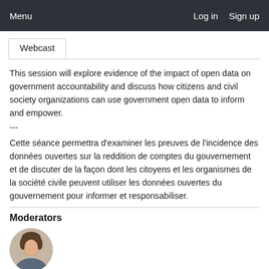Menu    Log in   Sign up
Webcast
This session will explore evidence of the impact of open data on government accountability and discuss how citizens and civil society organizations can use government open data to inform and empower.
---
Cette séance permettra d'examiner les preuves de l'incidence des données ouvertes sur la reddition de comptes du gouvernement et de discuter de la façon dont les citoyens et les organismes de la société civile peuvent utiliser les données ouvertes du gouvernement pour informer et responsabiliser.
Moderators
[Figure (photo): Circular avatar photo of a person, a moderator]